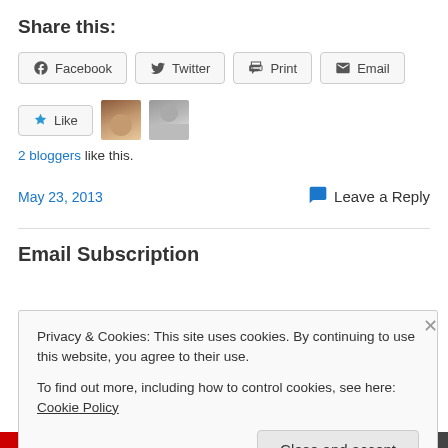Share this:
Facebook | Twitter | Print | Email
[Figure (other): Like button with star icon, and two blogger avatar images]
2 bloggers like this.
May 23, 2013   Leave a Reply
Email Subscription
Privacy & Cookies: This site uses cookies. By continuing to use this website, you agree to their use.
To find out more, including how to control cookies, see here: Cookie Policy
Close and accept